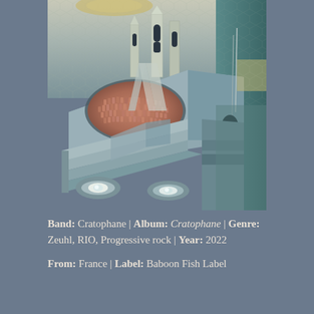[Figure (illustration): Surrealist album art illustration showing a futuristic architectural scene with tall spires, arched windows, a crowd gathered in a circular depression, and large eye-like shapes at the bottom, rendered in muted blue-grey tones with warm terracotta accents for the crowd.]
Band: Cratophane | Album: Cratophane | Genre: Zeuhl, RIO, Progressive rock | Year: 2022
From: France | Label: Baboon Fish Label